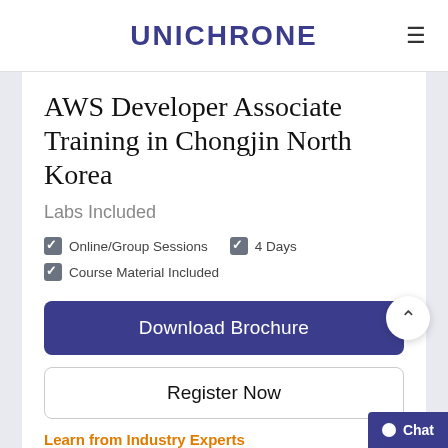UNICHRONE
AWS Developer Associate Training in Chongjin North Korea
Labs Included
Online/Group Sessions
4 Days
Course Material Included
Download Brochure
Register Now
Learn from Industry Experts